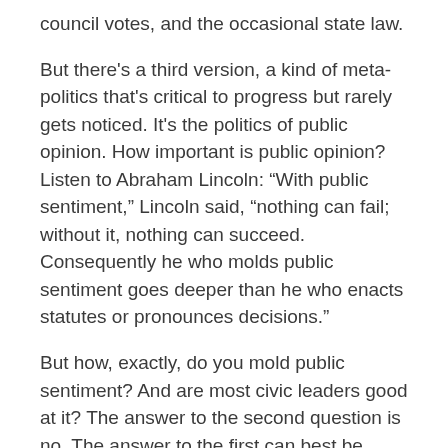council votes, and the occasional state law.
But there's a third version, a kind of meta-politics that's critical to progress but rarely gets noticed. It's the politics of public opinion. How important is public opinion? Listen to Abraham Lincoln: “With public sentiment,” Lincoln said, “nothing can fail; without it, nothing can succeed. Consequently he who molds public sentiment goes deeper than he who enacts statutes or pronounces decisions.”
But how, exactly, do you mold public sentiment? And are most civic leaders good at it? The answer to the second question is no. The answer to the first can best be understood by turning to another president, Franklin D. Roosevelt, who, second only to Lincoln, was the greatest molder of public opinion ever to occupy the White House.